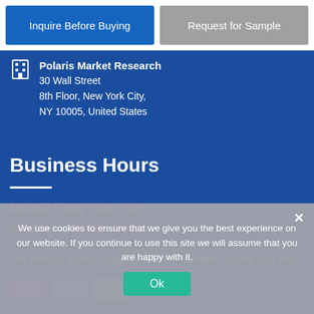Inquire Before Buying
Request for Sample
Polaris Market Research
30 Wall Street
8th Floor, New York City,
NY 10005, United States
Business Hours
Monday-Friday: 9am - 6pm
Saturday & Sunday: Closed
Our sales & analyst support team is available to help you 24x5
We use cookies to ensure that we give you the best experience on our website. If you continue to use this site we will assume that you are happy with it.